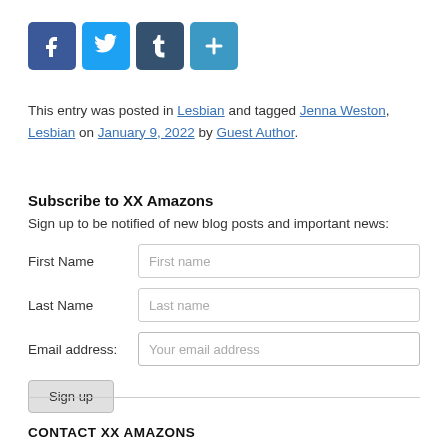[Figure (other): Social sharing icons: Facebook (blue), Twitter (light blue), Tumblr (dark blue-grey), Share/plus (blue)]
This entry was posted in Lesbian and tagged Jenna Weston, Lesbian on January 9, 2022 by Guest Author.
Subscribe to XX Amazons
Sign up to be notified of new blog posts and important news:
First Name [First name input] Last Name [Last name input] Email address: [Your email address input] Sign up button
CONTACT XX AMAZONS